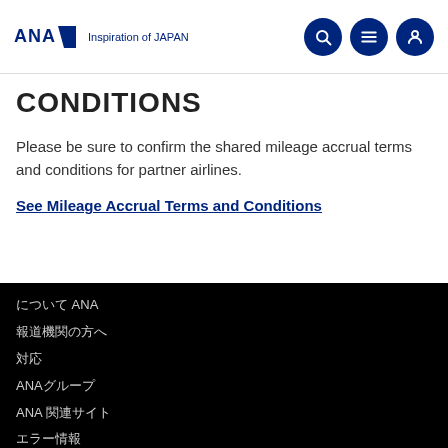ANA Inspiration of JAPAN
CONDITIONS
Please be sure to confirm the shared mileage accrual terms and conditions for partner airlines.
See Mileage Accrual Terms and Conditions
について ANA
報道機関の方へ
対応
ANAグループ
ANA 関連サイト
エラー情報
安全情報